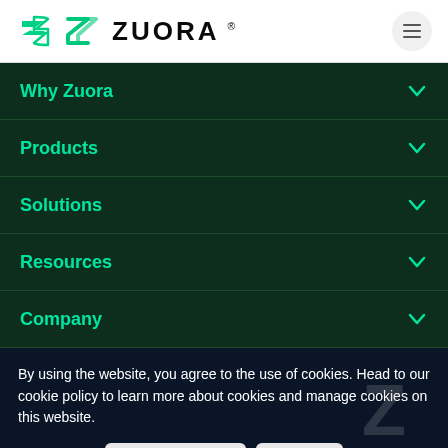ZUORA
Why Zuora
Products
Solutions
Resources
Company
By using the website, you agree to the use of cookies. Head to our cookie policy to learn more about cookies and manage cookies on this website.
Manage Settings | Accept